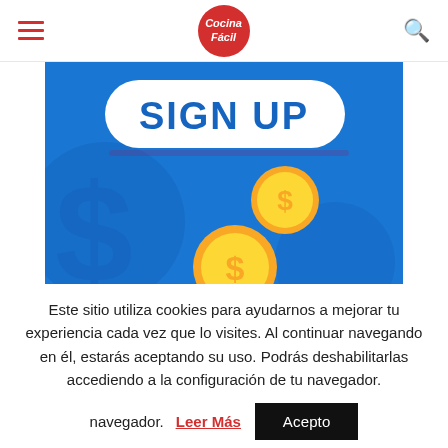Cocina Fácil
[Figure (illustration): Sign up promotional illustration with blue background, gold coins with dollar signs, and a piggy bank at the bottom. White rounded rectangle button with bold blue 'SIGN UP' text at top.]
Este sitio utiliza cookies para ayudarnos a mejorar tu experiencia cada vez que lo visites. Al continuar navegando en él, estarás aceptando su uso. Podrás deshabilitarlas accediendo a la configuración de tu navegador.
Leer Más
Acepto